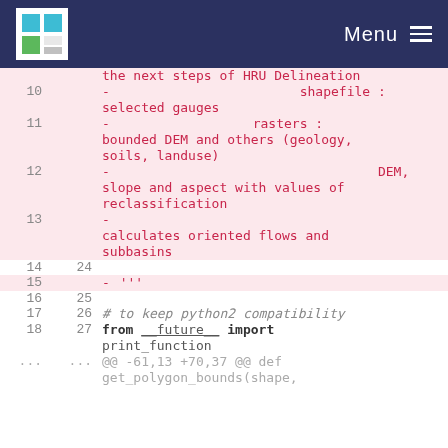Menu
| old | new | code |
| --- | --- | --- |
|  |  | the next steps of HRU Delineation |
| 10 |  | - shapefile : selected gauges |
| 11 |  | - rasters : bounded DEM and others (geology, soils, landuse) |
| 12 |  | - DEM, slope and aspect with values of reclassification |
| 13 |  | - calculates oriented flows and subbasins |
| 14 | 24 |  |
| 15 |  | - ''' |
| 16 | 25 |  |
| 17 | 26 | # to keep python2 compatibility |
| 18 | 27 | from __future__ import print_function |
| ... | ... | @@ -61,13 +70,37 @@ def get_polygon_bounds(shape, |